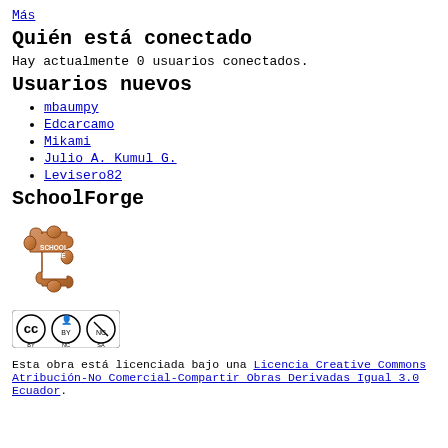Más
Quién está conectado
Hay actualmente 0 usuarios conectados.
Usuarios nuevos
mbaumpy
Edcarcamo
Mikami
Julio A. Kumul G.
Levisero82
SchoolForge
[Figure (logo): SchoolForge member puzzle piece badge logo]
[Figure (logo): Creative Commons BY NC SA license badge]
Esta obra está licenciada bajo una Licencia Creative Commons Atribución-No Comercial-Compartir Obras Derivadas Igual 3.0 Ecuador.